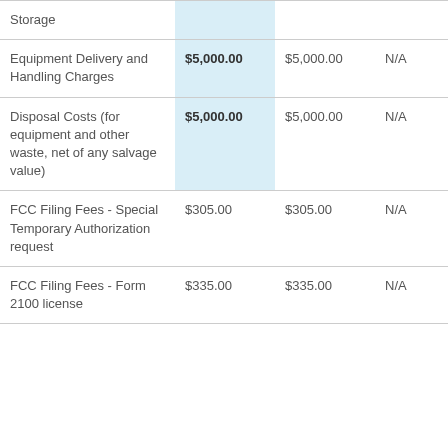|  |  |  |  |
| --- | --- | --- | --- |
| Equipment Delivery and Handling Charges | $5,000.00 | $5,000.00 | N/A |
| Disposal Costs (for equipment and other waste, net of any salvage value) | $5,000.00 | $5,000.00 | N/A |
| FCC Filing Fees - Special Temporary Authorization request | $305.00 | $305.00 | N/A |
| FCC Filing Fees - Form 2100 license | $335.00 | $335.00 | N/A |